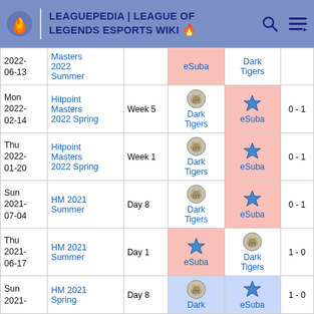LEAGUEPEDIA | LEAGUE OF LEGENDS ESPORTS WIKI
| Date | Event | Stage | Team 1 | Team 2 | Score |
| --- | --- | --- | --- | --- | --- |
| 2022-06-13 | Masters 2022 Summer |  | eSuba | Dark Tigers |  |
| Mon 2022-02-14 | Hitpoint Masters 2022 Spring | Week 5 | Dark Tigers | eSuba | 0 - 1 |
| Thu 2022-01-20 | Hitpoint Masters 2022 Spring | Week 1 | Dark Tigers | eSuba | 0 - 1 |
| Sun 2021-07-04 | HM 2021 Summer | Day 8 | Dark Tigers | eSuba | 0 - 1 |
| Thu 2021-06-17 | HM 2021 Summer | Day 1 | eSuba | Dark Tigers | 1 - 0 |
| Sun 2021- | HM 2021 Spring | Day 8 | Dark | eSuba | 1 - 0 |